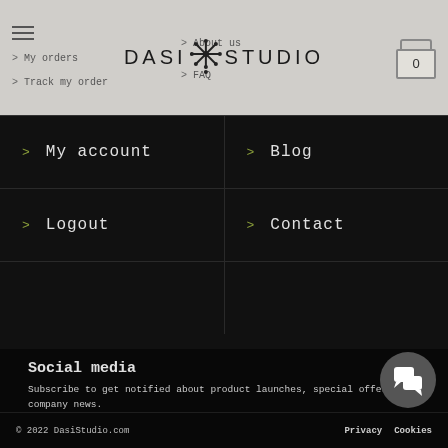DASI STUDIO — navigation header with menu, logo, cart
> My orders
> Track my order
> About us
> FAQ
> My account
> Blog
> Logout
> Contact
Social media
Subscribe to get notified about product launches, special offers and company news.
[Figure (infographic): Social media icons: Facebook, Instagram, Email, Telegram]
[Figure (infographic): Chat support button (speech bubble icon)]
© 2022 DasiStudio.com   Privacy   Cookies